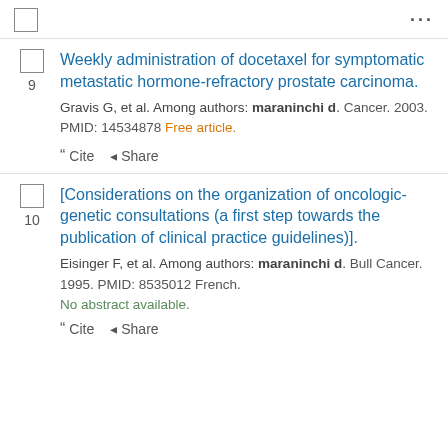...
Weekly administration of docetaxel for symptomatic metastatic hormone-refractory prostate carcinoma.
Gravis G, et al. Among authors: maraninchi d. Cancer. 2003. PMID: 14534878 Free article.
Cite  Share
[Considerations on the organization of oncologic-genetic consultations (a first step towards the publication of clinical practice guidelines)].
Eisinger F, et al. Among authors: maraninchi d. Bull Cancer. 1995. PMID: 8535012 French.
No abstract available.
Cite  Share